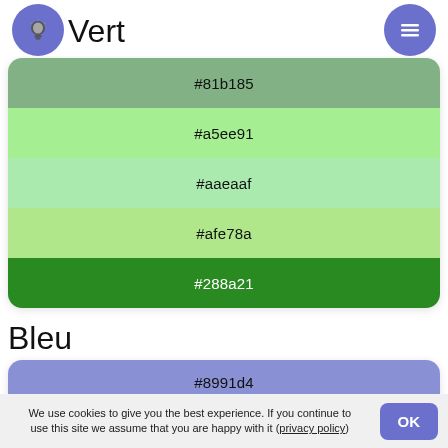Vert
[Figure (infographic): Green color palette card with 5 swatches: #81b185, #a5ee91, #aaeaaf, #afe78a, #288a21]
Bleu
[Figure (infographic): Blue color palette card with 4 visible swatches: #8991d4, #122370, #5b6fa0, #2640de]
We use cookies to give you the best experience. If you continue to use this site we assume that you are happy with it (privacy policy)